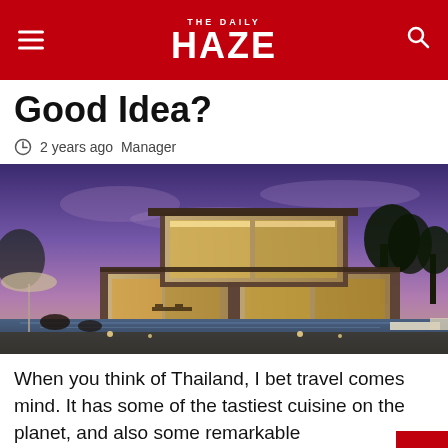THE DAILY HAZE
Good Idea?
2 years ago  Manager
[Figure (photo): Modern luxury villa with glass walls illuminated at dusk, with a swimming pool in the foreground and purple-blue sky]
When you think of Thailand, I bet travel comes to mind. It has some of the tastiest cuisine on the planet, and also some remarkable beaches and lots of